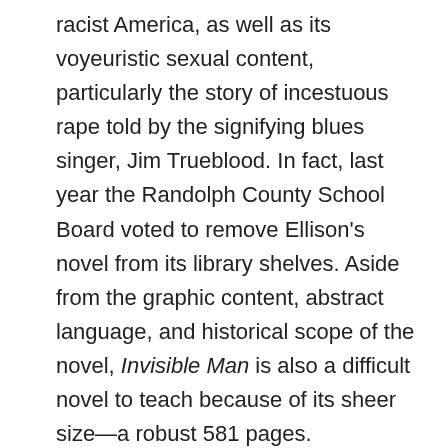racist America, as well as its voyeuristic sexual content, particularly the story of incestuous rape told by the signifying blues singer, Jim Trueblood. In fact, last year the Randolph County School Board voted to remove Ellison's novel from its library shelves. Aside from the graphic content, abstract language, and historical scope of the novel, Invisible Man is also a difficult novel to teach because of its sheer size—a robust 581 pages.

Yet it is for all these historical reasons and challenges that I recently taught Invisible Man and will continue to do so, as content to teach